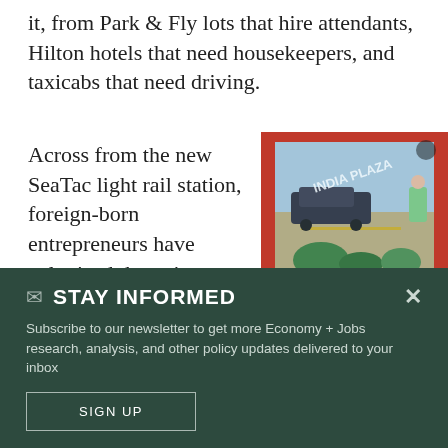it, from Park & Fly lots that hire attendants, Hilton hotels that need housekeepers, and taxicabs that need driving.
Across from the new SeaTac light rail station, foreign-born entrepreneurs have colonized the strip
[Figure (photo): Photo taken through a glass door reflection showing a street scene with cars and a sign reading 'INDIA PLAZA']
✉ STAY INFORMED
Subscribe to our newsletter to get more Economy + Jobs research, analysis, and other policy updates delivered to your inbox
SIGN UP